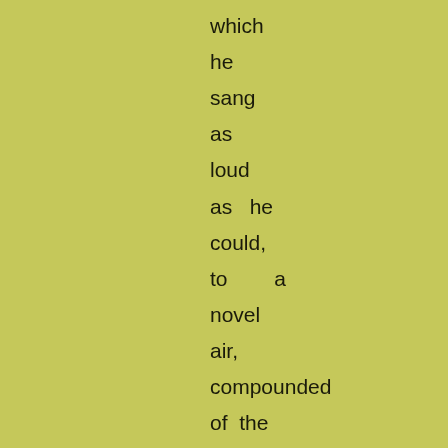which
he
sang
as
loud
as   he
could,
to       a
novel
air,
compounded
of  the
'Bay
of
Biscay,'
and  'A
Frog
he
would,'